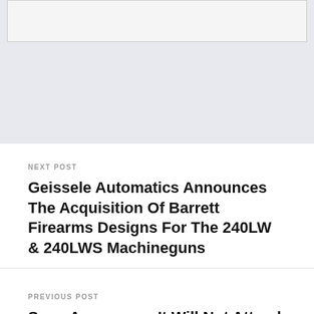[Figure (other): Partial image placeholder box at top of page]
NEXT POST
Geissele Automatics Announces The Acquisition Of Barrett Firearms Designs For The 240LW & 240LWS Machineguns
PREVIOUS POST
Sony Announces It Will Not Attend E3 For Second Year In a Row